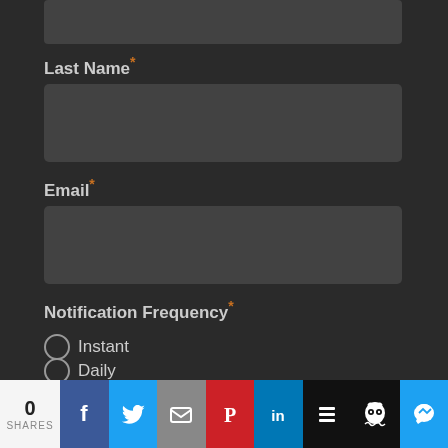[Figure (screenshot): Top gray input field (partially cropped at top)]
Last Name*
[Figure (screenshot): Last Name text input field (dark gray rounded rectangle)]
Email*
[Figure (screenshot): Email text input field (dark gray rounded rectangle)]
Notification Frequency*
Instant
Daily
Weekly
Monthly
[Figure (screenshot): SUBSCRIBE button (orange rounded rectangle)]
0 SHARES
[Figure (screenshot): Social share bar with Facebook, Twitter, Email, Pinterest, LinkedIn, Buffer, Owly, Messenger icons]